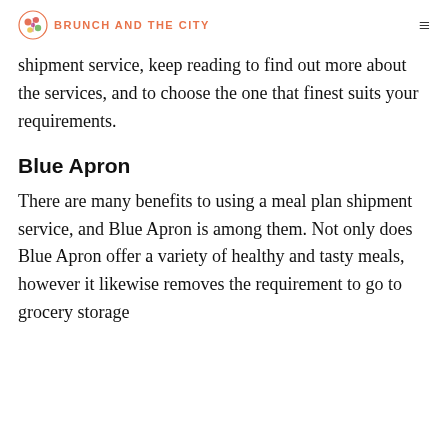BRUNCH AND THE CITY
shipment service, keep reading to find out more about the services, and to choose the one that finest suits your requirements.
Blue Apron
There are many benefits to using a meal plan shipment service, and Blue Apron is among them. Not only does Blue Apron offer a variety of healthy and tasty meals, however it likewise removes the requirement to go to grocery storage